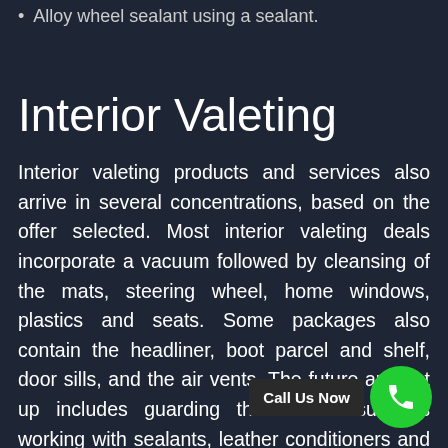Alloy wheel sealant using a sealant.
Interior Valeting
Interior valeting products and services also arrive in several concentrations, based on the offer selected. Most interior valeting deals incorporate a vacuum followed by cleansing of the mats, steering wheel, home windows, plastics and seats. Some packages also contain the headliner, boot parcel and shelf, door sills, and the air vents. The future amount up includes guarding the interior surfaces working with sealants, leather conditioners and sealants plastic dressings, however this is generally